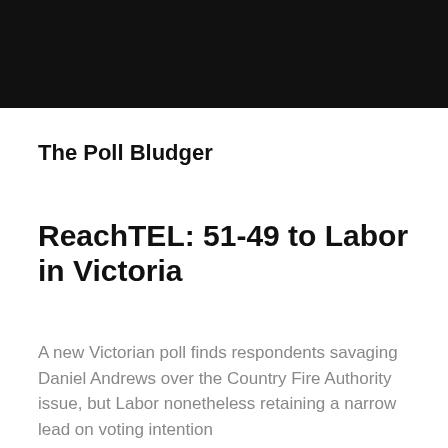[Figure (other): Black header bar spanning full width at top of page]
The Poll Bludger
ReachTEL: 51-49 to Labor in Victoria
A new Victorian poll finds respondents savaging Daniel Andrews over the Country Fire Authority issue, but Labor nonetheless retaining a narrow lead on voting intention